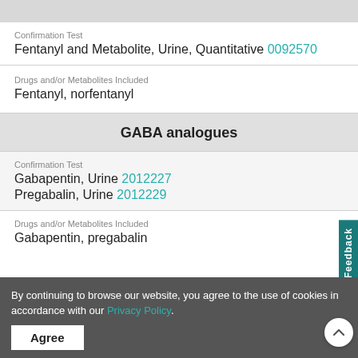Confirmation Test
Fentanyl and Metabolite, Urine, Quantitative 0092570
Drugs and/or Metabolites Included
Fentanyl, norfentanyl
GABA analogues
Confirmation Test
Gabapentin, Urine 2012227
Pregabalin, Urine 2012229
Drugs and/or Metabolites Included
Gabapentin, pregabalin
By continuing to browse our website, you agree to the use of cookies in accordance with our Privacy Policy.
Agree